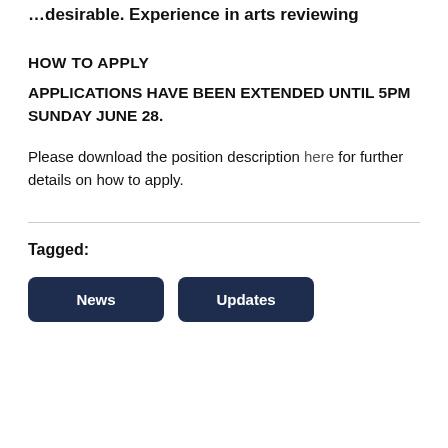…desirable. Experience in arts reviewing
HOW TO APPLY
APPLICATIONS HAVE BEEN EXTENDED UNTIL 5PM SUNDAY JUNE 28.
Please download the position description here for further details on how to apply.
Tagged:
News
Updates